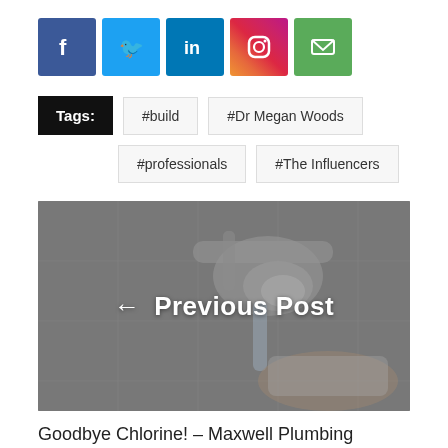[Figure (infographic): Social media share icons: Facebook (blue), Twitter (light blue), LinkedIn (dark blue), Instagram (gradient), Email (green)]
Tags: #build #Dr Megan Woods #professionals #The Influencers
[Figure (photo): Photo of a chrome kitchen faucet running water with a hand holding a cloth underneath, greyscale/dark toned]
← Previous Post
Goodbye Chlorine! – Maxwell Plumbing
July 6, 2018